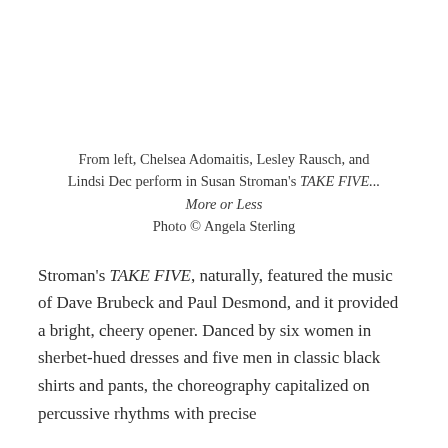From left, Chelsea Adomaitis, Lesley Rausch, and Lindsi Dec perform in Susan Stroman's TAKE FIVE... More or Less
Photo © Angela Sterling
Stroman's TAKE FIVE, naturally, featured the music of Dave Brubeck and Paul Desmond, and it provided a bright, cheery opener. Danced by six women in sherbet-hued dresses and five men in classic black shirts and pants, the choreography capitalized on percussive rhythms with precise